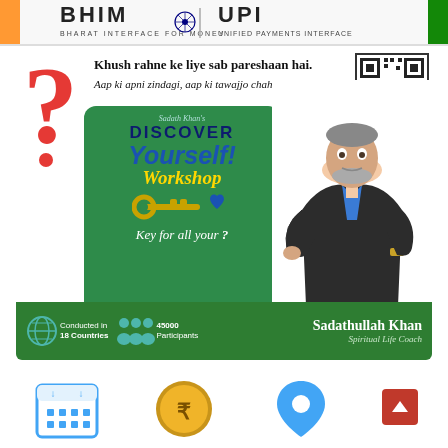[Figure (logo): BHIM UPI logo banner - Bharat Interface for Money | Unified Payments Interface with Indian flag colors]
[Figure (infographic): Discover Yourself Workshop advertisement featuring red question mark, tagline text, QR code, green workshop box with text 'Sadath Khan's DISCOVER Yourself! Workshop Key for all your?', person silhouette of Sadathullah Khan, and bottom bar showing Conducted in 18 Countries, 45000 Participants, Sadathullah Khan Spiritual Life Coach]
[Figure (infographic): Bottom icons row with calendar icon, rupee coin icon, location pin icon, and red scroll-to-top button]